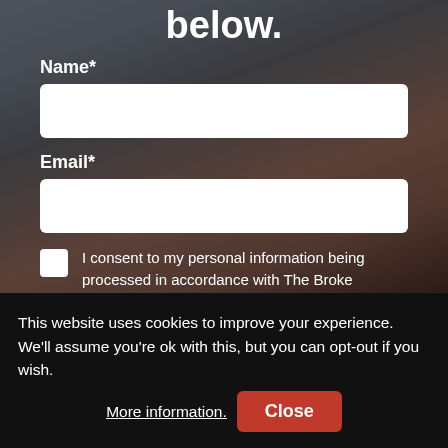below.
Name*
Email*
I consent to my personal information being processed in accordance with The Broke Backpackers Privacy Policy (Required)
This website uses cookies to improve your experience. We'll assume you're ok with this, but you can opt-out if you wish. More information. Close